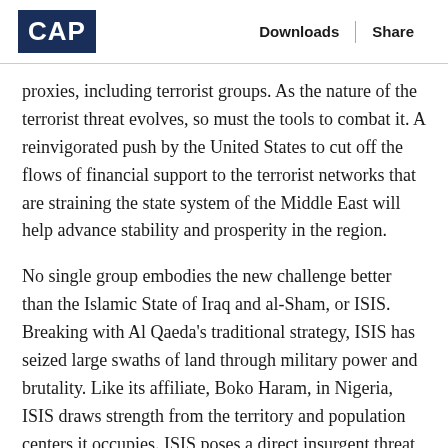CAP | Downloads | Share
proxies, including terrorist groups. As the nature of the terrorist threat evolves, so must the tools to combat it. A reinvigorated push by the United States to cut off the flows of financial support to the terrorist networks that are straining the state system of the Middle East will help advance stability and prosperity in the region.
No single group embodies the new challenge better than the Islamic State of Iraq and al-Sham, or ISIS. Breaking with Al Qaeda's traditional strategy, ISIS has seized large swaths of land through military power and brutality. Like its affiliate, Boko Haram, in Nigeria, ISIS draws strength from the territory and population centers it occupies. ISIS poses a direct insurgent threat to the integrity of Iraq and Syria and seeks to challenge the legitimacy of other states in